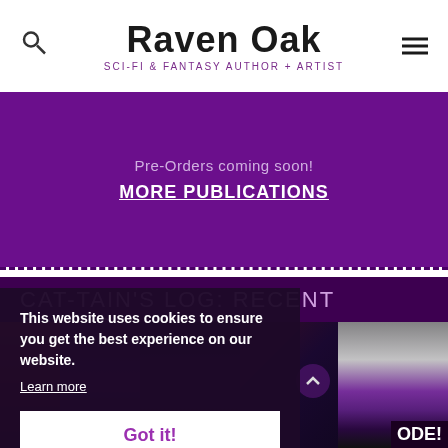Raven Oak — SCI-FI & FANTASY AUTHOR + ARTIST
Pre-Orders coming soon!
MORE PUBLICATIONS
CAT-TAIN'S LOG: RECENT EPISODE!
[Figure (screenshot): Partial image strip showing a cat-tain log episode thumbnail with space background and colorful graphic elements]
This website uses cookies to ensure you get the best experience on our website.
Learn more
Got it!